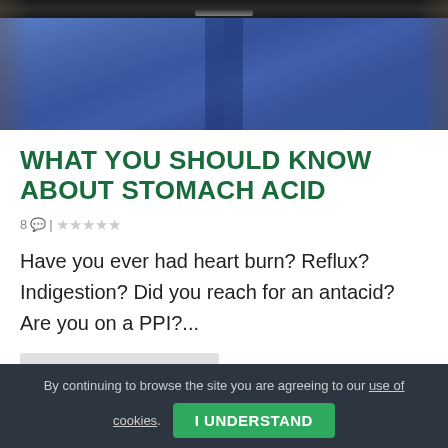[Figure (photo): Photo of person wearing blue jeans with a dark belt and silver buckle, cropped at the waist/hip area against a blurred background.]
WHAT YOU SHOULD KNOW ABOUT STOMACH ACID
8 💬 | ★★★★★
Have you ever had heart burn? Reflux? Indigestion? Did you reach for an antacid? Are you on a PPI?...
READ MORE
By continuing to browse the site you are agreeing to our use of cookies.
I UNDERSTAND